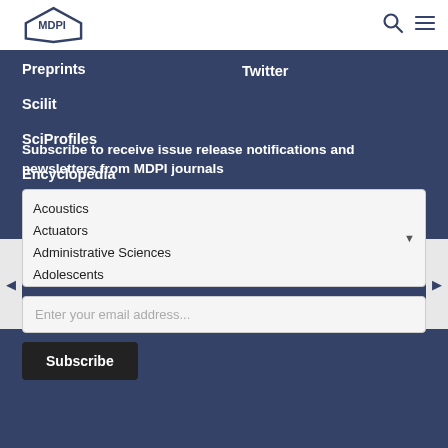MDPI [logo] [search icon] [menu icon]
Preprints
Twitter
Scilit
SciProfiles
Encyclopedia
JAMS
Proceedings Series
Subscribe to receive issue release notifications and newsletters from MDPI journals
Acoustics
Actuators
Administrative Sciences
Adolescents
Advancing Respiratory Medicine...
Enter your email address...
Subscribe